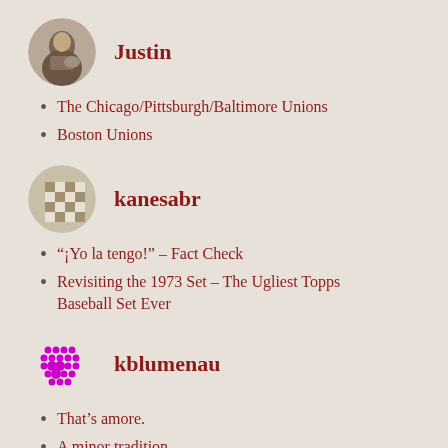[Figure (photo): Circular avatar photo of user Justin, sepia-toned historical photo]
Justin
The Chicago/Pittsburgh/Baltimore Unions
Boston Unions
[Figure (illustration): Circular avatar with checkerboard tan and white pattern for user kanesabr]
kanesabr
“¡Yo la tengo!” – Fact Check
Revisiting the 1973 Set – The Ugliest Topps Baseball Set Ever
[Figure (illustration): Circular avatar with magenta/pink dot grid pattern for user kblumenau]
kblumenau
That’s amore.
A minor tradition.